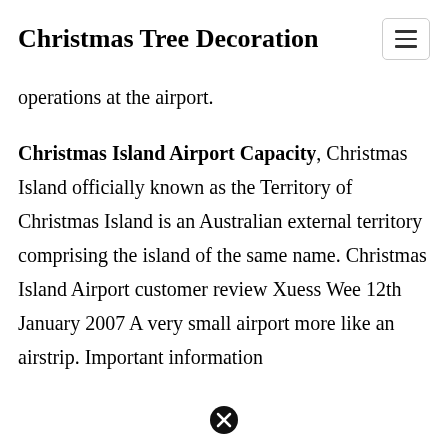Christmas Tree Decoration
operations at the airport.
Christmas Island Airport Capacity, Christmas Island officially known as the Territory of Christmas Island is an Australian external territory comprising the island of the same name. Christmas Island Airport customer review Xuess Wee 12th January 2007 A very small airport more like an airstrip. Important information